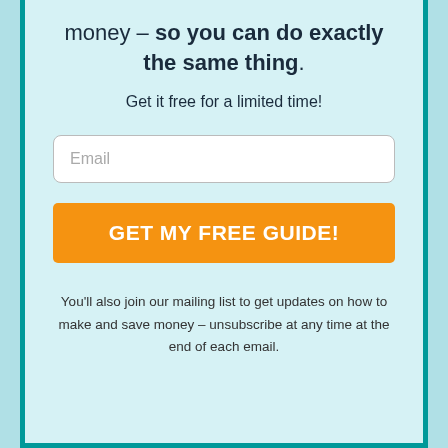money – so you can do exactly the same thing.
Get it free for a limited time!
[Figure (other): Email input field with placeholder text 'Email']
[Figure (other): Orange call-to-action button with text 'GET MY FREE GUIDE!']
You'll also join our mailing list to get updates on how to make and save money – unsubscribe at any time at the end of each email.